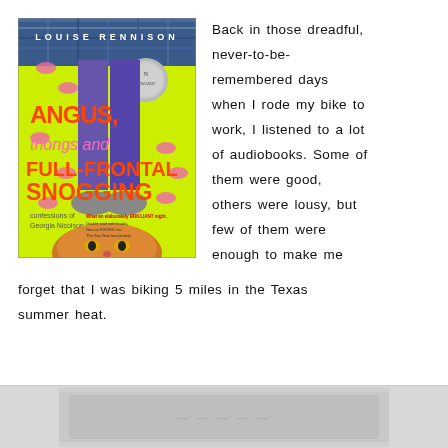[Figure (illustration): Book cover of 'Angus, Thongs and Full-Frontal Snogging: Confessions of Georgia Nicolson' by Louise Rennison. Bright yellow-green cover with illustrated legs in purple tights, a cat at the bottom, and pink lip/mouth decorations.]
Back in those dreadful, never-to-be-remembered days when I rode my bike to work, I listened to a lot of audiobooks. Some of them were good, others were lousy, but few of them were enough to make me forget that I was biking 5 miles in the Texas summer heat.
[Figure (photo): Partially visible image at the bottom of the page, mostly obscured.]